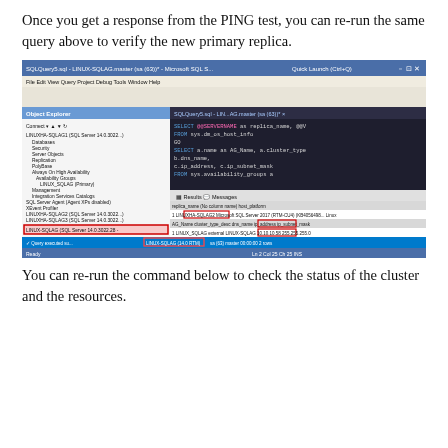Once you get a response from the PING test, you can re-run the same query above to verify the new primary replica.
[Figure (screenshot): Microsoft SQL Server Management Studio screenshot showing a SQL query window with SELECT @@SERVERNAME as replica_name and SELECT a.name as AG_Name, a.cluster_type, b.dns_name, c.ip_address, c.ip_subnet_mask FROM sys.availability_groups a. The Object Explorer on the left shows LINUXHA-SQLAG1, LINUXHA-SQLAG2, LINUXHA-SQLAG3, and LINUX-SQLAG nodes. The results pane shows LINUXHA-SQLAG2 as replica_name with Microsoft SQL Server 2017 and Linux host_platform. Second result shows LINUX_SQLAG with external cluster type and LINUX-SQLAG dns_name, ip 10.10.10.58, subnet 255.255.255.0. Status bar shows LINUX-SQLAG (14.0 RTM).]
You can re-run the command below to check the status of the cluster and the resources.